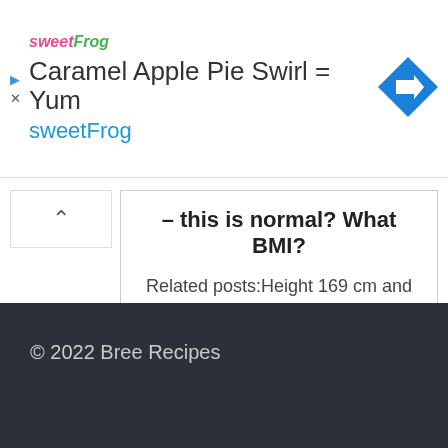[Figure (screenshot): SweetFrog advertisement banner with logo, title 'Caramel Apple Pie Swirl = Yum', subtitle 'sweetFrog', and a blue diamond directional arrow icon on the right.]
– this is normal? What BMI?
Related posts:Height 169 cm and weight 141 kg - this
0   0
© 2022 Bree Recipes